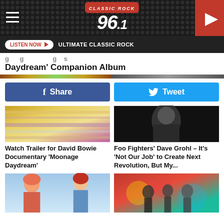[Figure (screenshot): Classic Rock 96.1 radio station app header with hamburger menu, logo, and play button]
LISTEN NOW ▶   ULTIMATE CLASSIC ROCK
Daydream' Companion Album
[Figure (illustration): Share and Tweet social media buttons]
[Figure (photo): Colorful glitchy image for David Bowie Moonage Daydream documentary]
[Figure (photo): Dark photo of performer for Foo Fighters Dave Grohl article]
Watch Trailer for David Bowie Documentary 'Moonage Daydream'
Foo Fighters' Dave Grohl – It's 'Not Our Job' to Create Next Revolution, But My...
[Figure (photo): David Bowie as Ziggy Stardust and a Barbie doll styled after Bowie]
[Figure (photo): Band performing live on stage with colorful backdrop]